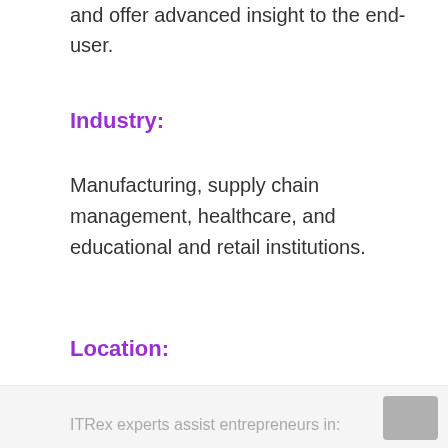and offer advanced insight to the end-user.
Industry:
Manufacturing, supply chain management, healthcare, and educational and retail institutions.
Location:
Minsk, Belarus
Services:
ITRex experts assist entrepreneurs in: